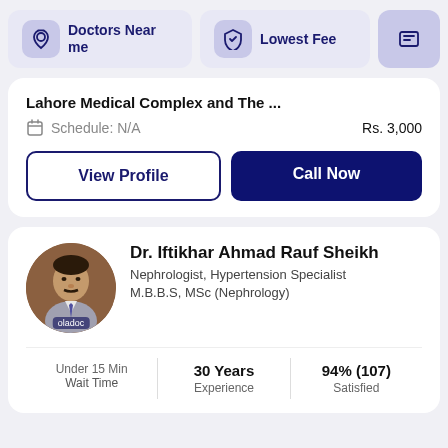[Figure (screenshot): Top navigation bar with 'Doctors Near me' button with location pin icon, 'Lowest Fee' button with shield/badge icon, and a partially visible third button]
Lahore Medical Complex and The ...
Schedule: N/A    Rs. 3,000
View Profile
Call Now
Dr. Iftikhar Ahmad Rauf Sheikh
Nephrologist, Hypertension Specialist
M.B.B.S, MSc (Nephrology)
Under 15 Min
Wait Time
30 Years
Experience
94% (107)
Satisfied